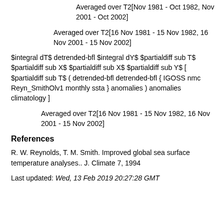Averaged over T2[Nov 1981 - Oct 1982, Nov 2001 - Oct 2002]
Averaged over T2[16 Nov 1981 - 15 Nov 1982, 16 Nov 2001 - 15 Nov 2002]
$integral dT$ detrended-bfl $integral dY$ $partialdiff sub T$ $partialdiff sub X$ $partialdiff sub X$ $partialdiff sub Y$ [ $partialdiff sub T$ ( detrended-bfl detrended-bfl { IGOSS nmc Reyn_SmithOlv1 monthly ssta } anomalies ) anomalies climatology ]
Averaged over T2[16 Nov 1981 - 15 Nov 1982, 16 Nov 2001 - 15 Nov 2002]
References
R. W. Reynolds, T. M. Smith. Improved global sea surface temperature analyses.. J. Climate 7, 1994
Last updated: Wed, 13 Feb 2019 20:27:28 GMT